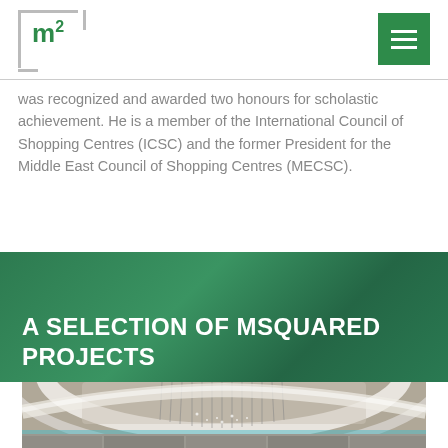m² (msquared logo) with hamburger menu
was recognized and awarded two honours for scholastic achievement. He is a member of the International Council of Shopping Centres (ICSC) and the former President for the Middle East Council of Shopping Centres (MECSC).
A SELECTION OF MSQUARED PROJECTS
[Figure (photo): Interior of a luxury shopping mall with decorative chandelier ceiling installation, curved white ceiling elements, and retail storefronts visible at the bottom.]